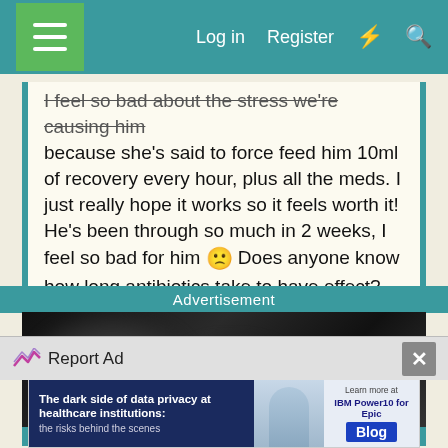Log in  Register
I feel so bad about the stress we're causing him because she's said to force feed him 10ml of recovery every hour, plus all the meds. I just really hope it works so it feels worth it! He's been through so much in 2 weeks, I feel so bad for him 🙁 Does anyone know how long antibiotics take to have effect? Am I doing everything I can? Is there a chance he will be OK and would recover from dentals in the future or am I being selfish putting him through this? Thank you <3
Advertisement
[Figure (photo): Dark moody advertisement image with text 'THIS DAY IN HISTORY']
Report Ad
[Figure (infographic): Advertisement banner: 'The dark side of data privacy at healthcare institutions: the risks behind the scenes' - Learn more at IBM Power10 for Epic Blog]